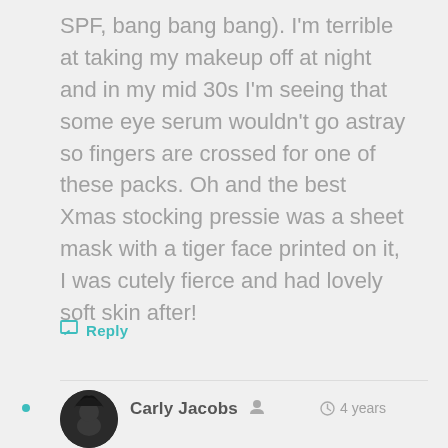SPF, bang bang bang). I'm terrible at taking my makeup off at night and in my mid 30s I'm seeing that some eye serum wouldn't go astray so fingers are crossed for one of these packs. Oh and the best Xmas stocking pressie was a sheet mask with a tiger face printed on it, I was cutely fierce and had lovely soft skin after!
Reply
Carly Jacobs  4 years